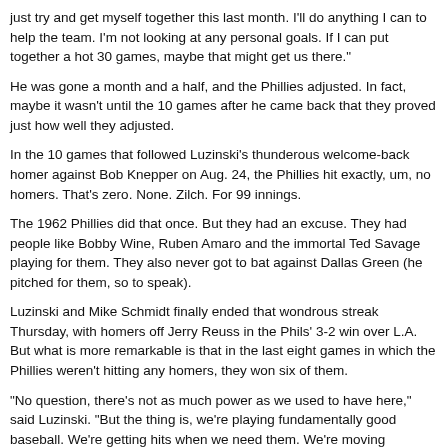just try and get myself together this last month. I'll do anything I can to help the team. I'm not looking at any personal goals. If I can put together a hot 30 games, maybe that might get us there."
He was gone a month and a half, and the Phillies adjusted. In fact, maybe it wasn't until the 10 games after he came back that they proved just how well they adjusted.
In the 10 games that followed Luzinski's thunderous welcome-back homer against Bob Knepper on Aug. 24, the Phillies hit exactly, um, no homers. That's zero. None. Zilch. For 99 innings.
The 1962 Phillies did that once. But they had an excuse. They had people like Bobby Wine, Ruben Amaro and the immortal Ted Savage playing for them. They also never got to bat against Dallas Green (he pitched for them, so to speak).
Luzinski and Mike Schmidt finally ended that wondrous streak Thursday, with homers off Jerry Reuss in the Phils' 3-2 win over L.A. But what is more remarkable is that in the last eight games in which the Phillies weren't hitting any homers, they won six of them.
"No question, there's not as much power as we used to have here," said Luzinski. "But the thing is, we're playing fundamentally good baseball. We're getting hits when we need them. We're moving runners. And when you're not getting the home run, the big thing for an offense is to do things right."
It is basically a scramble-for-runs offense now. But it sure wouldn't be hurt if Luzinski could